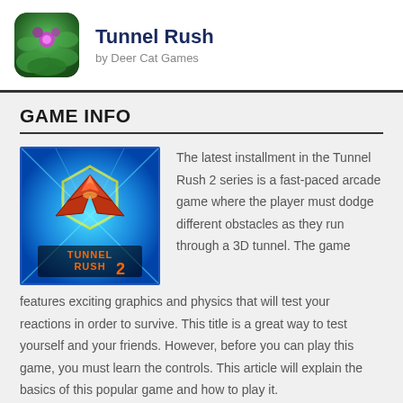Tunnel Rush by Deer Cat Games
GAME INFO
[Figure (illustration): Tunnel Rush 2 game screenshot showing a spaceship flying through a colorful 3D tunnel with the text TUNNEL RUSH 2]
The latest installment in the Tunnel Rush 2 series is a fast-paced arcade game where the player must dodge different obstacles as they run through a 3D tunnel. The game features exciting graphics and physics that will test your reactions in order to survive. This title is a great way to test yourself and your friends. However, before you can play this game, you must learn the controls. This article will explain the basics of this popular game and how to play it.